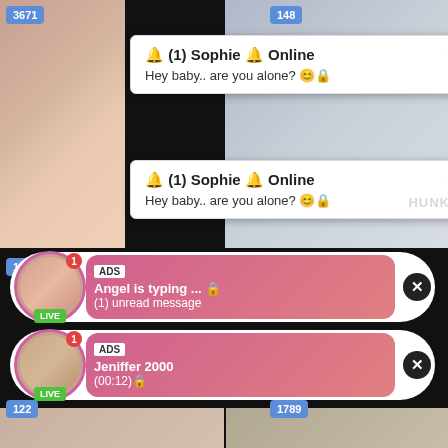[Figure (screenshot): Social media/live stream interface screenshot with viewer count badge 3671]
3671
148
🔔 (1) Sophie 🔔 Online
Hey baby.. are you alone? 😊🔒
🔔 (1) Sophie 🔔 Online
Hey baby.. are you alone? 😊🔒
HUNK
117
ADS
Angel is typing ... 🔒
(1) unread message
LIVE
ADS
Jeniffer 2000
(00:12)🔒
LIVE
122
1789